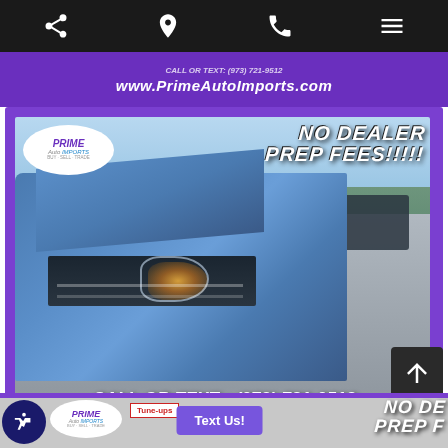Navigation bar with share, location, phone, and menu icons
[Figure (photo): Purple banner with www.PrimeAutoImports.com website text]
[Figure (photo): Prime Auto Imports car dealership advertisement featuring close-up of blue Toyota Corolla headlight and front end. Text overlay: NO DEALER PREP FEES!!!!!! CALL OR TEXT: (973) 721-9512 www.PrimeAutoImports.com]
Text Us!
[Figure (photo): Second Prime Auto Imports advertisement partially visible at bottom showing NO DEALER PREP FEES text and Tune-ups sign]